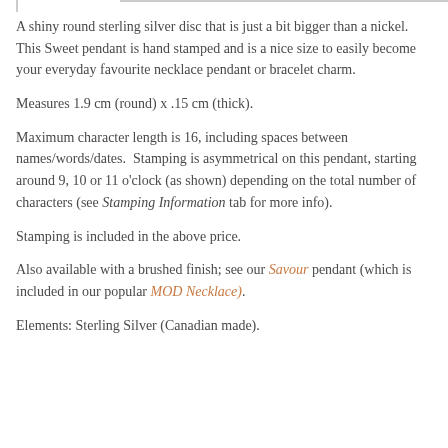A shiny round sterling silver disc that is just a bit bigger than a nickel. This Sweet pendant is hand stamped and is a nice size to easily become your everyday favourite necklace pendant or bracelet charm.
Measures 1.9 cm (round) x .15 cm (thick).
Maximum character length is 16, including spaces between names/words/dates.  Stamping is asymmetrical on this pendant, starting around 9, 10 or 11 o'clock (as shown) depending on the total number of characters (see Stamping Information tab for more info).
Stamping is included in the above price.
Also available with a brushed finish; see our Savour pendant (which is included in our popular MOD Necklace).
Elements: Sterling Silver (Canadian made).